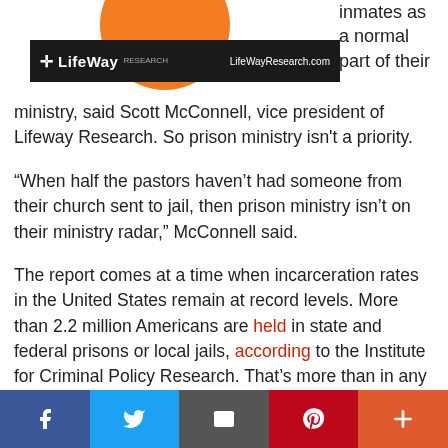[Figure (logo): LifeWay Research logo bar with orange partial circle at top, black bar with LifeWay logo on left and LifeWayResearch.com on right]
inmates as a normal part of their ministry, said Scott McConnell, vice president of Lifeway Research. So prison ministry isn't a priority.
“When half the pastors haven’t had someone from their church sent to jail, then prison ministry isn’t on their ministry radar,” McConnell said.
The report comes at a time when incarceration rates in the United States remain at record levels. More than 2.2 million Americans are held in state and federal prisons or local jails, according to the Institute for Criminal Policy Research. That’s more than in any other nation in the
Facebook | Twitter | Email | Pinterest | More